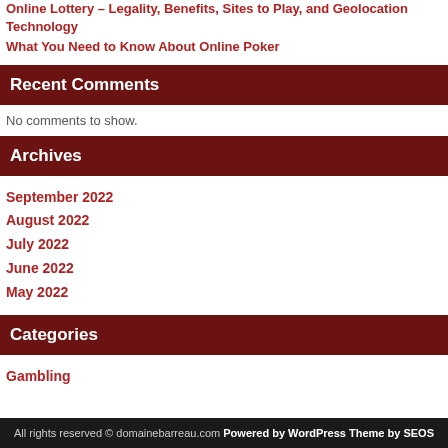Online Lottery – Legality, Benefits, Sites to Play, and Geolocation Technology
What You Need to Know About Online Poker
Recent Comments
No comments to show.
Archives
September 2022
August 2022
July 2022
June 2022
May 2022
Categories
Gambling
All rights reserved © domainebarreau.com Powered by WordPress Theme by SEOS